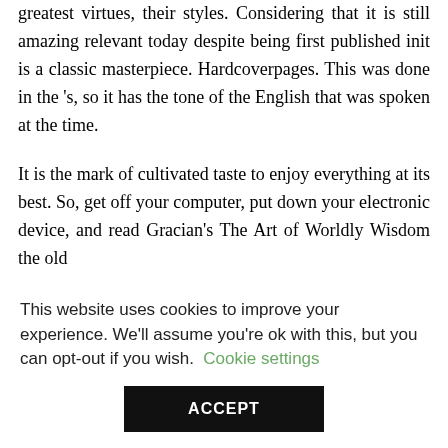greatest virtues, their styles. Considering that it is still amazing relevant today despite being first published init is a classic masterpiece. Hardcoverpages. This was done in the 's, so it has the tone of the English that was spoken at the time.
It is the mark of cultivated taste to enjoy everything at its best. So, get off your computer, put down your electronic device, and read Gracian's The Art of Worldly Wisdom the old
This website uses cookies to improve your experience. We'll assume you're ok with this, but you can opt-out if you wish. Cookie settings ACCEPT